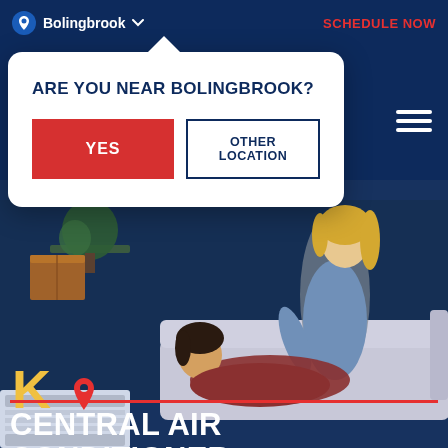Bolingbrook  SCHEDULE NOW
ARE YOU NEAR BOLINGBROOK?
YES
OTHER LOCATION
CENTRAL AIR CONDITIONER
[Figure (screenshot): Mobile website screenshot showing a location confirmation dialog popup over a hero image of a woman with a child on a couch, with navigation bar showing Bolingbrook location and SCHEDULE NOW link]